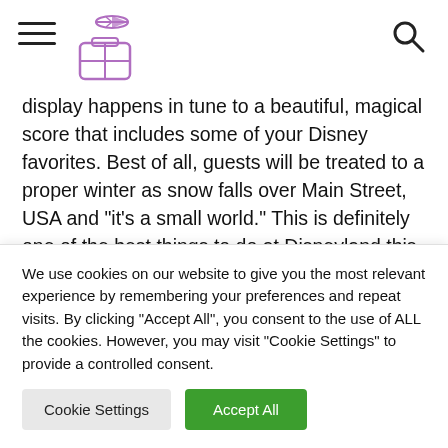[Navigation header with hamburger menu, travel logo, and search icon]
display happens in tune to a beautiful, magical score that includes some of your Disney favorites. Best of all, guests will be treated to a proper winter as snow falls over Main Street, USA and “it’s a small world.” This is definitely one of the best things to do at Disneyland this season.
Tips: Secure a good viewing spot early on. Also be sure to snap photos of the castle in the daytime.
We use cookies on our website to give you the most relevant experience by remembering your preferences and repeat visits. By clicking “Accept All”, you consent to the use of ALL the cookies. However, you may visit "Cookie Settings" to provide a controlled consent.